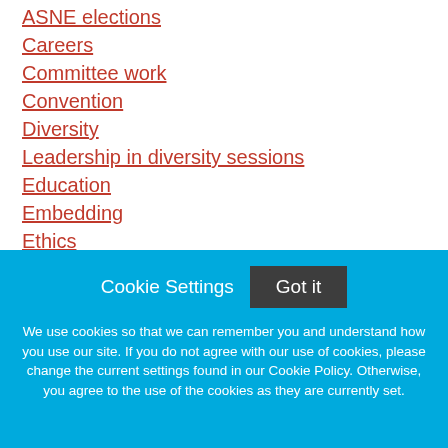ASNE elections
Careers
Committee work
Convention
Diversity
Leadership in diversity sessions
Education
Embedding
Ethics
First Amendment
FOI
Cookie Settings  Got it
We use cookies so that we can remember you and understand how you use our site. If you do not agree with our use of cookies, please change the current settings found in our Cookie Policy. Otherwise, you agree to the use of the cookies as they are currently set.